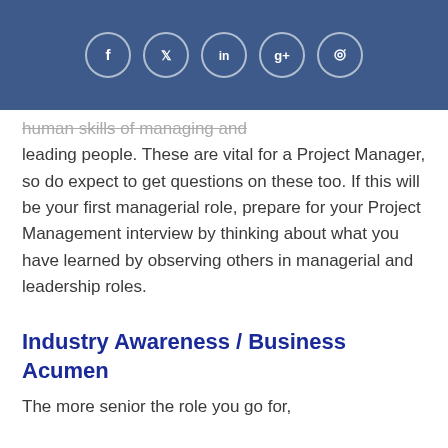Social icons: Facebook, Twitter, LinkedIn, Google+, Pinterest
human skills of managing and leading people. These are vital for a Project Manager, so do expect to get questions on these too. If this will be your first managerial role, prepare for your Project Management interview by thinking about what you have learned by observing others in managerial and leadership roles.
Industry Awareness / Business Acumen
The more senior the role you go for,